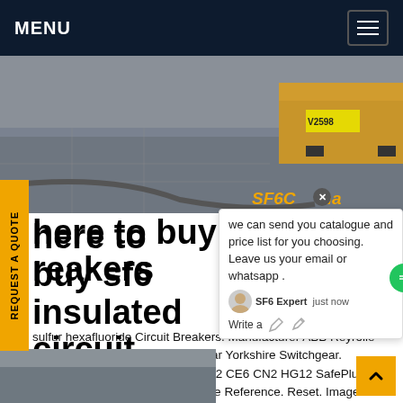MENU
[Figure (photo): Outdoor industrial/street scene with vehicles and pavement, SF6China watermark overlay]
REQUEST A QUOTE
where to buy sf6 insulated circuit breakers
sulfur hexafluoride Circuit Breakers. Manufacturer ABB Reyrolle Schneider South Wales Switchgear Yorkshire Switchgear. Manufacturer. Type Reference CE2 CE6 CN2 HG12 SafePlus SafeSix J200S Ysf6 gas ZV2. Type Reference. Reset. Image. Manufacturer. Type Reference.Get price
we can send you catalogue and price list for you choosing. Leave us your email or whatsapp .
SF6 Expert   just now
Write a